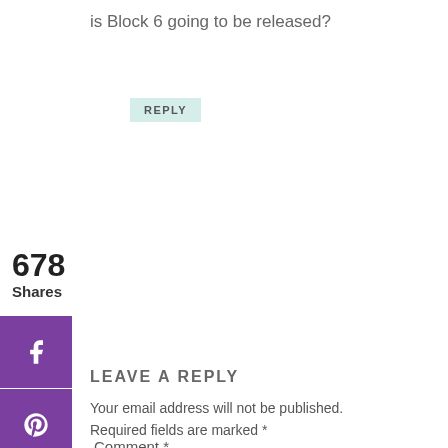is Block 6 going to be released?
REPLY
678 Shares
[Figure (illustration): Social share sidebar with Facebook, Pinterest, Twitter, Email, Messenger icons in purple, and a share/bookmark icon]
LEAVE A REPLY
Your email address will not be published. Required fields are marked *
Comment *
[Figure (other): Empty comment text area input box]